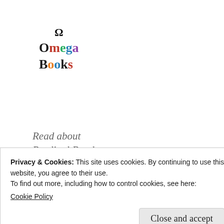[Figure (logo): Omega Books logo with omega symbol and colorful letters]
Read about Prodigal Band series characters, scenarios, and the why and how about my books
Privacy & Cookies: This site uses cookies. By continuing to use this website, you agree to their use.
To find out more, including how to control cookies, see here:
Cookie Policy
Close and accept